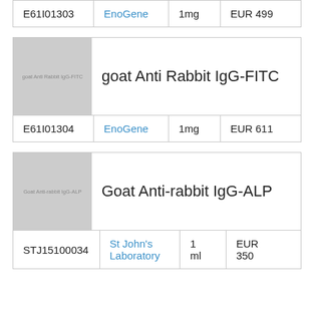| ID | Supplier | Amount | Price |
| --- | --- | --- | --- |
| E61I01303 | EnoGene | 1mg | EUR 499 |
[Figure (photo): Product image placeholder for goat Anti Rabbit IgG-FITC]
goat Anti Rabbit IgG-FITC
| ID | Supplier | Amount | Price |
| --- | --- | --- | --- |
| E61I01304 | EnoGene | 1mg | EUR 611 |
[Figure (photo): Product image placeholder for Goat Anti-rabbit IgG-ALP]
Goat Anti-rabbit IgG-ALP
| ID | Supplier | Amount | Price |
| --- | --- | --- | --- |
| STJ15100034 | St John's Laboratory | 1 ml | EUR 350 |